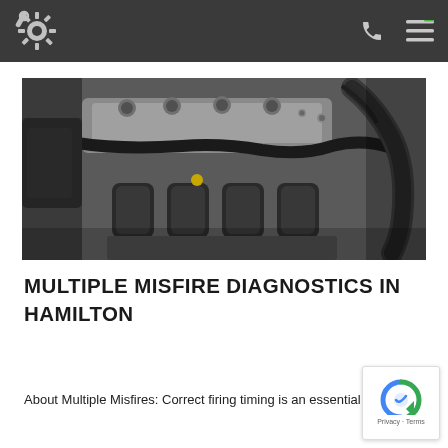Auto repair shop header with logo and navigation icons
[Figure (photo): Black and white close-up photograph of a car engine bay showing intake manifold, valve cover, spark plug wires, and various hoses and components.]
MULTIPLE MISFIRE DIAGNOSTICS IN HAMILTON
About Multiple Misfires: Correct firing timing is an essential